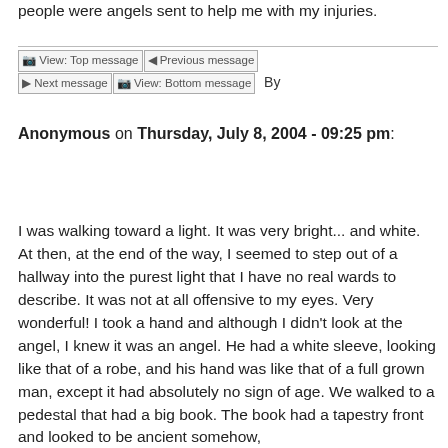people were angels sent to help me with my injuries.
[View: Top message] [Previous message] [Next message] [View: Bottom message]  By Anonymous on Thursday, July 8, 2004 - 09:25 pm:
I was walking toward a light. It was very bright... and white. At then, at the end of the way, I seemed to step out of a hallway into the purest light that I have no real wards to describe. It was not at all offensive to my eyes. Very wonderful! I took a hand and although I didn't look at the angel, I knew it was an angel. He had a white sleeve, looking like that of a robe, and his hand was like that of a full grown man, except it had absolutely no sign of age. We walked to a pedestal that had a big book. The book had a tapestry front and looked to be ancient somehow,